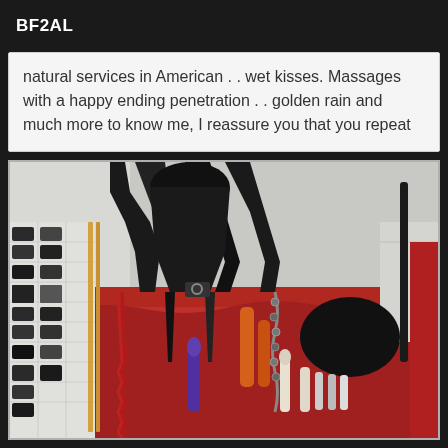BF2AL
natural services in American . . wet kisses. Massages with a happy ending penetration . . golden rain and much more to know me, I reassure you that you repeat
[Figure (photo): Photo of adult toy collection displayed on a red surface with various items including restraints, chains, and other objects hanging and arranged on display]